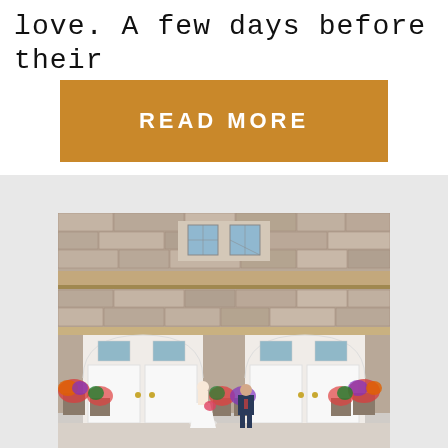love. A few days before their
READ MORE
[Figure (photo): Wedding couple standing in front of a stone building with white arched doors, flanked by colorful flower arrangements in large planters. The bride is in a white dress holding a bouquet and the groom is in a dark suit.]